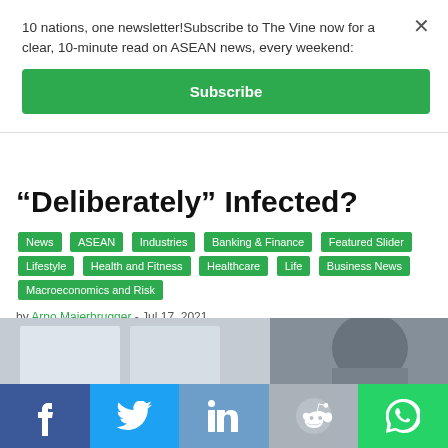10 nations, one newsletter!Subscribe to The Vine now for a clear, 10-minute read on ASEAN news, every weekend:
Subscribe
“Deliberately” Infected?
News
ASEAN
Industries
Banking & Finance
Featured Slider
Lifestyle
Health and Fitness
Healthcare
Life
Business News
Macroeconomics and Risk
by Arno Maierbrugger - Jul 17, 2021
[Figure (photo): Blurred image of a person wearing a head covering/mask, with a window/light background on the left side]
[Figure (infographic): Social share bar with Facebook, Twitter, LinkedIn, Reddit, and WhatsApp buttons]